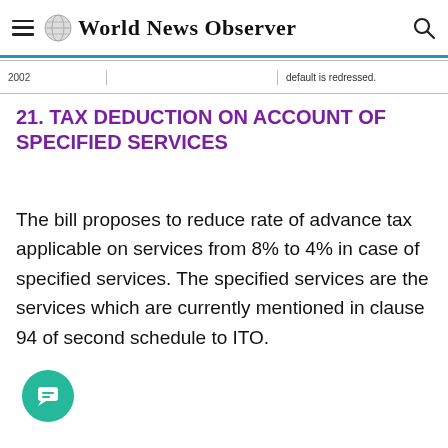World News Observer
| 2002 |  | default is redressed. |
| --- | --- | --- |
21. TAX DEDUCTION ON ACCOUNT OF SPECIFIED SERVICES
The bill proposes to reduce rate of advance tax applicable on services from 8% to 4% in case of specified services. The specified services are the services which are currently mentioned in clause 94 of second schedule to ITO.